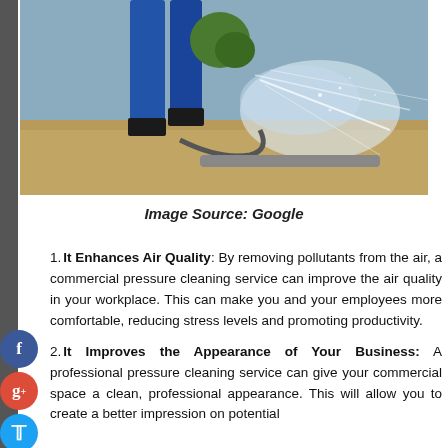[Figure (photo): A person in blue work clothes using a pressure washer on a surface, with water spraying outward. Outdoor cleaning scene.]
Image Source: Google
It Enhances Air Quality: By removing pollutants from the air, a commercial pressure cleaning service can improve the air quality in your workplace. This can make you and your employees more comfortable, reducing stress levels and promoting productivity.
It Improves the Appearance of Your Business: A professional pressure cleaning service can give your commercial space a clean, professional appearance. This will allow you to create a better impression on potential